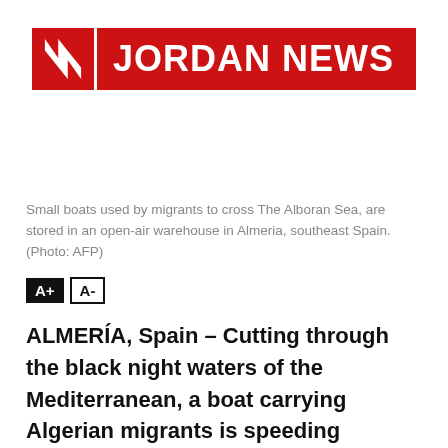[Figure (logo): Jordan News logo — red rectangle with white N mark on left, red rectangle with white text JORDAN NEWS on right]
Small boats used by migrants to cross The Alboran Sea, are stored in an open-air warehouse in Almeria, southeast Spain. (Photo: AFP)
A+ A-
ALMERÍA, Spain – Cutting through the black night waters of the Mediterranean, a boat carrying Algerian migrants is speeding towards Spain, all of them ready to risk death if it means